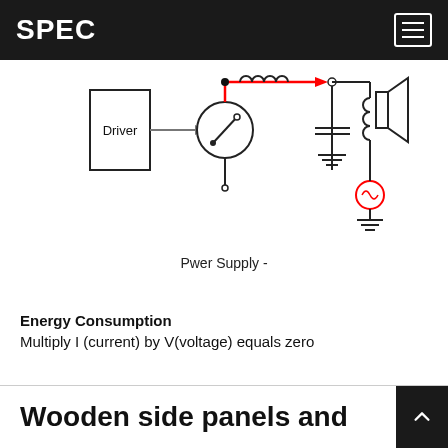SPEC
[Figure (circuit-diagram): Power supply schematic showing a Driver block connected via arrow to a relay/switch, with an inductor and red arrow path leading to an LC filter (capacitor and inductor) connected to a speaker load, with ground symbols and an AC source symbol.]
Pwer Supply -
Energy Consumption
Multiply I (current) by V(voltage) equals zero
Wooden side panels and